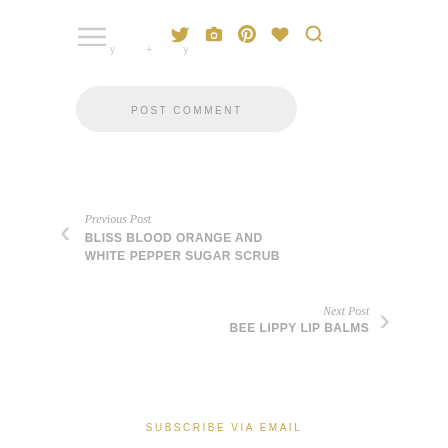≡ Twitter Instagram Pinterest Heart Search
y + y
POST COMMENT
Previous Post
BLISS BLOOD ORANGE AND WHITE PEPPER SUGAR SCRUB
Next Post
BEE LIPPY LIP BALMS
SUBSCRIBE VIA EMAIL